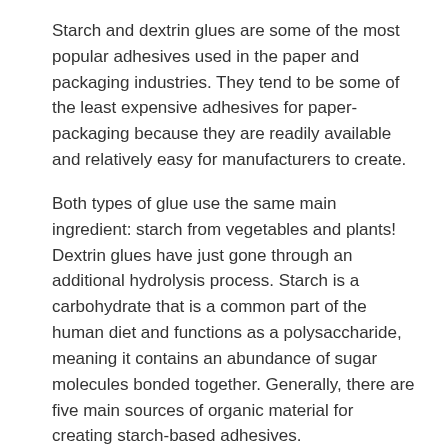Starch and dextrin glues are some of the most popular adhesives used in the paper and packaging industries. They tend to be some of the least expensive adhesives for paper-packaging because they are readily available and relatively easy for manufacturers to create.
Both types of glue use the same main ingredient: starch from vegetables and plants! Dextrin glues have just gone through an additional hydrolysis process. Starch is a carbohydrate that is a common part of the human diet and functions as a polysaccharide, meaning it contains an abundance of sugar molecules bonded together. Generally, there are five main sources of organic material for creating starch-based adhesives.
Corn Starch